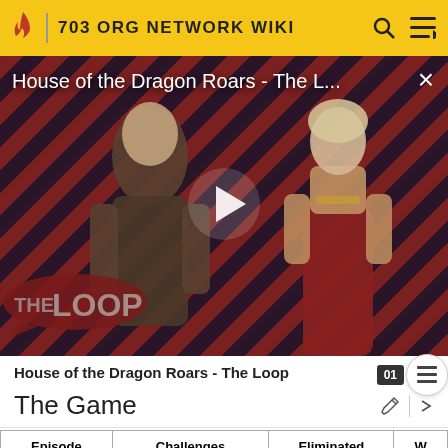703 ORG NETWORK WIKI
[Figure (screenshot): Video thumbnail for 'House of the Dragon Roars - The L...' showing two characters from House of the Dragon against a diagonal red and dark stripe background with a play button overlay and 'THE LOOP' logo in the bottom left.]
House of the Dragon Roars - The Loop
The Game
| Episode | Challenges | Eliminated | W |
| --- | --- | --- | --- |